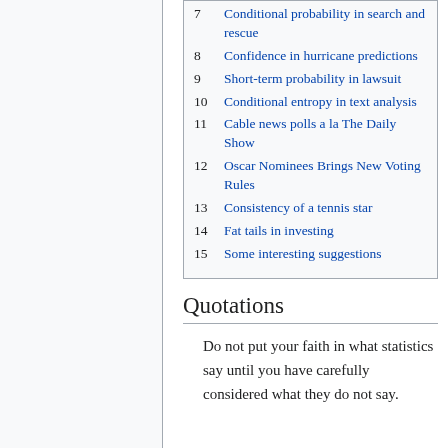7 Conditional probability in search and rescue
8 Confidence in hurricane predictions
9 Short-term probability in lawsuit
10 Conditional entropy in text analysis
11 Cable news polls a la The Daily Show
12 Oscar Nominees Brings New Voting Rules
13 Consistency of a tennis star
14 Fat tails in investing
15 Some interesting suggestions
Quotations
Do not put your faith in what statistics say until you have carefully considered what they do not say.